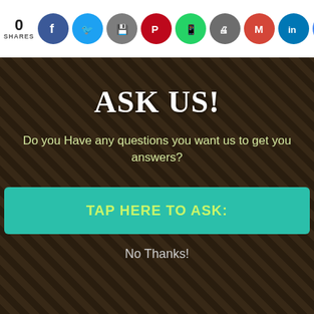0 SHARES
[Figure (screenshot): Social sharing bar with icons: Facebook, Twitter, Save, Pinterest, WhatsApp, Print, Gmail, LinkedIn, Google]
[Figure (photo): Background photo of a dog outdoors with dark overlay, and lower section showing a dog being bathed]
ASK US!
Do you Have any questions you want us to get you answers?
TAP HERE TO ASK:
No Thanks!